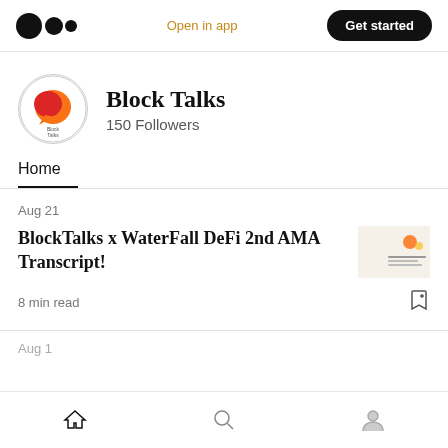Open in app | Get started
Block Talks
150 Followers
Home
Aug 21
BlockTalks x WaterFall DeFi 2nd AMA Transcript!
8 min read
Aug 1
Home | Search | Profile